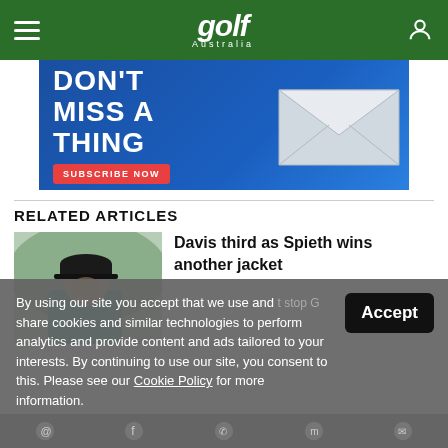Golf Australia
[Figure (illustration): Golf Australia subscription advertisement banner: dark blue background with white bold text 'DON'T MISS A THING', red 'SUBSCRIBE NOW' button, and an envelope graphic on the right.]
RELATED ARTICLES
[Figure (photo): Photo of a golfer in a teal polo shirt and dark cap outdoors.]
Davis third as Spieth wins another jacket
By using our site you accept that we use and share cookies and similar technologies to perform analytics and provide content and ads tailored to your interests. By continuing to use our site, you consent to this. Please see our Cookie Policy for more information.